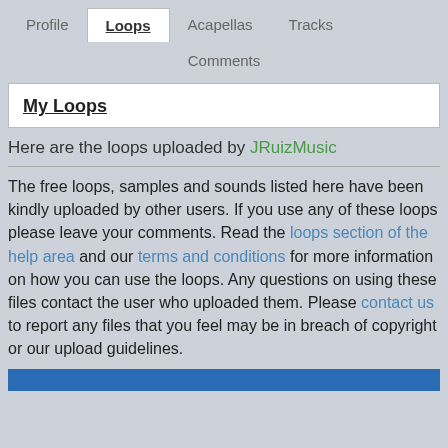Profile   Loops   Acapellas   Tracks   Comments
My Loops
Here are the loops uploaded by JRuizMusic
The free loops, samples and sounds listed here have been kindly uploaded by other users. If you use any of these loops please leave your comments. Read the loops section of the help area and our terms and conditions for more information on how you can use the loops. Any questions on using these files contact the user who uploaded them. Please contact us to report any files that you feel may be in breach of copyright or our upload guidelines.